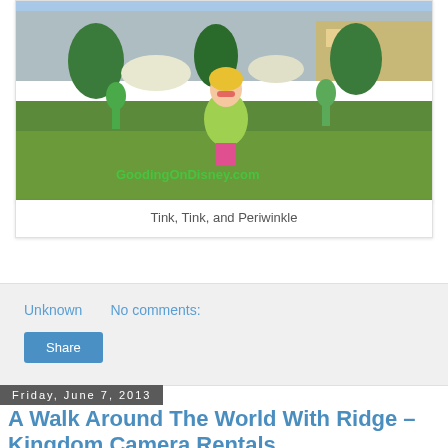[Figure (photo): A young blonde girl in a green t-shirt and sunglasses standing in a garden with topiary Disney character figures (Tinker Bell and Periwinkle) and flowers, with a greenhouse in the background. Watermark reads GoodingOnDisney.com]
Tink, Tink, and Periwinkle
Unknown   No comments:
Share
Friday, June 7, 2013
A Walk Around The World With Ridge – Kingdom Camera Rentals